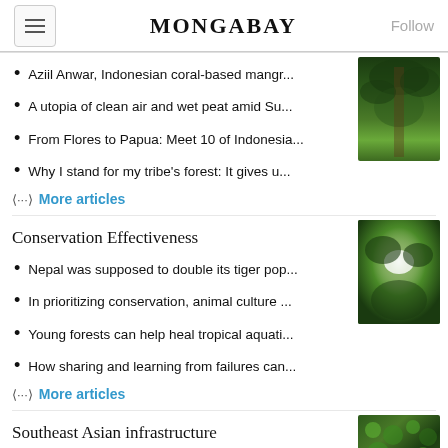MONGABAY
Aziil Anwar, Indonesian coral-based mangr...
A utopia of clean air and wet peat amid Su...
From Flores to Papua: Meet 10 of Indonesia...
Why I stand for my tribe's forest: It gives u...
⟨···⟩ More articles
Conservation Effectiveness
Nepal was supposed to double its tiger pop...
In prioritizing conservation, animal culture ...
Young forests can help heal tropical aquati...
How sharing and learning from failures can...
⟨···⟩ More articles
Southeast Asian infrastructure
In Laos, a 'very dangerous dam' threatens ...
Bali's new highway project sparks concern